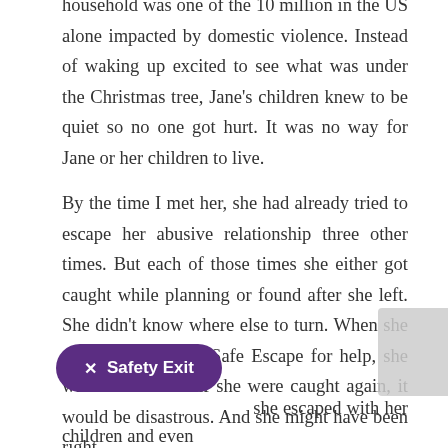household was one of the 10 million in the US alone impacted by domestic violence. Instead of waking up excited to see what was under the Christmas tree, Jane's children knew to be quiet so no one got hurt. It was no way for Jane or her children to live.
By the time I met her, she had already tried to escape her abusive relationship three other times. But each of those times she either got caught while planning or found after she left. She didn't know where else to turn. When she came to Operation Safe Escape for help, she was terrified that if she were caught again, it would be disastrous. And she might have been right.
she escaped with her children and even their pets. She was finally free to start a new life, finally
[Figure (other): Purple rounded pill-shaped Safety Exit button with an X icon and the text 'Safety Exit' in white on a dark purple (#5b2d82) background.]